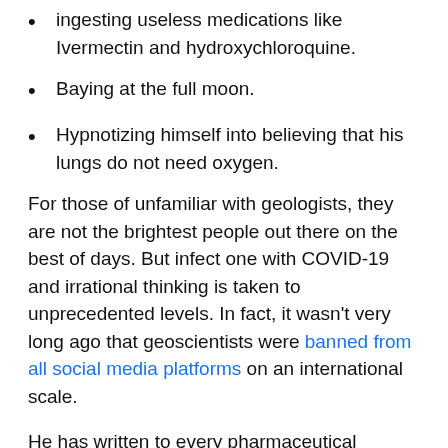ingesting useless medications like Ivermectin and hydroxychloroquine.
Baying at the full moon.
Hypnotizing himself into believing that his lungs do not need oxygen.
For those of unfamiliar with geologists, they are not the brightest people out there on the best of days. But infect one with COVID-19 and irrational thinking is taken to unprecedented levels. In fact, it wasn't very long ago that geoscientists were banned from all social media platforms on an international scale.
He has written to every pharmaceutical company and research lab he could find an address for to ask them to invent a special mini-COVID that could cover the regular